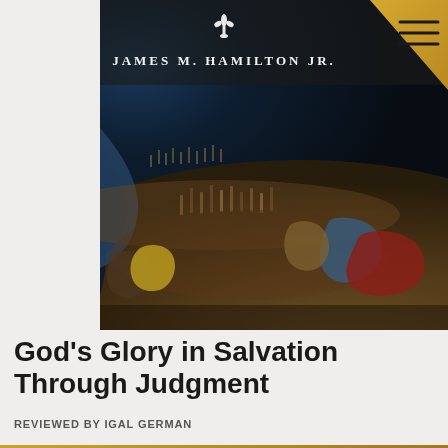[Figure (illustration): Book cover of 'God's Glory in Salvation Through Judgment' by James M. Hamilton Jr. The cover shows a dramatic classical painting of a large crowd of people, with figures raising their arms, set against a dark stormy landscape with a massive dark wave or cliff on the left side. The author name 'JAMES M. HAMILTON JR.' appears in white serif letters near the top of the cover. A decorative fleur-de-lis symbol appears above the author name. The top-right corner has a gold/yellow triangular element with a hamburger menu icon.]
God's Glory in Salvation Through Judgment
REVIEWED BY IGAL GERMAN